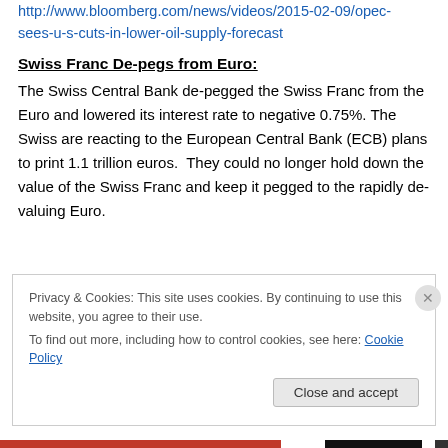http://www.bloomberg.com/news/videos/2015-02-09/opec-sees-u-s-cuts-in-lower-oil-supply-forecast
Swiss Franc De-pegs from Euro:
The Swiss Central Bank de-pegged the Swiss Franc from the Euro and lowered its interest rate to negative 0.75%. The Swiss are reacting to the European Central Bank (ECB) plans to print 1.1 trillion euros.  They could no longer hold down the value of the Swiss Franc and keep it pegged to the rapidly de-valuing Euro.
Privacy & Cookies: This site uses cookies. By continuing to use this website, you agree to their use.
To find out more, including how to control cookies, see here: Cookie Policy